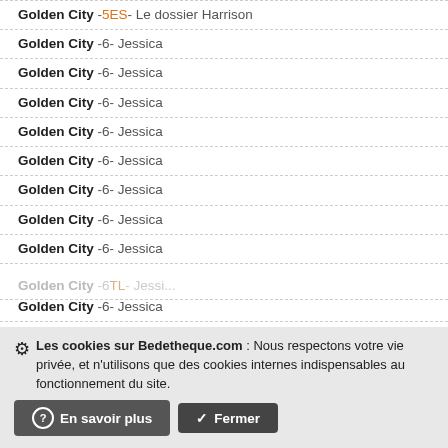Golden City -5ES- Le dossier Harrison
Golden City -6- Jessica
Golden City -6- Jessica
Golden City -6- Jessica
Golden City -6- Jessica
Golden City -6- Jessica
Golden City -6- Jessica
Golden City -6- Jessica
Golden City -6- Jessica
Golden City -6- Jessica
Golden City -6- Jessica
Golden City -6- Jessica
Golden City -6- Jessica
Golden City -6- Jessica
Golden City -6- Jessica
Golden City -6a2007- Jessica
Golden City -6TL- Jessica
Les cookies sur Bedetheque.com : Nous respectons votre vie privée, et n'utilisons que des cookies internes indispensables au fonctionnement du site.